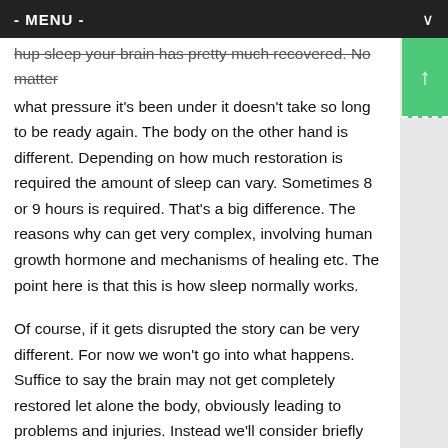- MENU -
hup sleep your brain has pretty much recovered. No matter what pressure it's been under it doesn't take so long to be ready again. The body on the other hand is different. Depending on how much restoration is required the amount of sleep can vary. Sometimes 8 or 9 hours is required. That's a big difference. The reasons why can get very complex, involving human growth hormone and mechanisms of healing etc. The point here is that this is how sleep normally works.
Of course, if it gets disrupted the story can be very different. For now we won't go into what happens. Suffice to say the brain may not get completely restored let alone the body, obviously leading to problems and injuries. Instead we'll consider briefly why it gets disrupted. The main reason I find is that you get stimulated some how. Anything from caffeine to adrenaline is going to stop or limit your sleep.
Caffeine is obvious but Adrenaline!!! how? I hear you ask!!! I'm